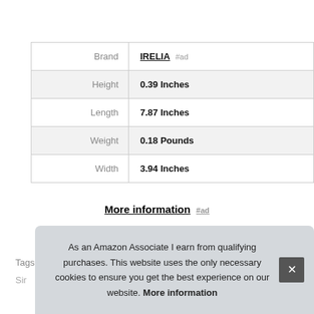|  |  |
| --- | --- |
| Brand | IRELIA #ad |
| Height | 0.39 Inches |
| Length | 7.87 Inches |
| Weight | 0.18 Pounds |
| Width | 3.94 Inches |
More information #ad
As an Amazon Associate I earn from qualifying purchases. This website uses the only necessary cookies to ensure you get the best experience on our website. More information